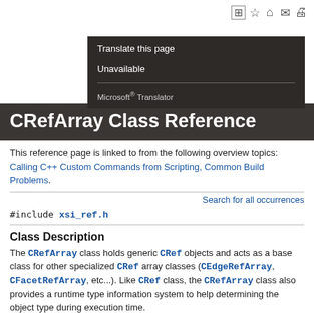[Figure (other): Toolbar icons: bookmark/add, star, home, mail, print]
Translate this page
Unavailable
Microsoft® Translator
CRefArray Class Reference
This reference page is linked to from the following overview topics: Calling C++ Custom Commands from Scripting, Common Build Problems.
Search for all occurrences
#include <xsi_ref.h>
Class Description
The CRefArray class holds generic CRef objects and acts as a base class for other specialized CRef array classes (CEdgeRefArray, CFacetRefArray, etc...). Like CRef class, the CRefArray class also provides a runtime type information system to help determining the object type during execution time.
The following example demonstrates several approaches for iterating the items of a CRefArray object. Although all of these methods below are